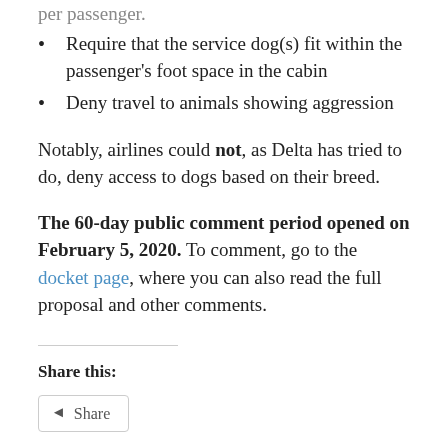Require that the service dog(s) fit within the passenger's foot space in the cabin
Deny travel to animals showing aggression
Notably, airlines could not, as Delta has tried to do, deny access to dogs based on their breed.
The 60-day public comment period opened on February 5, 2020. To comment, go to the docket page, where you can also read the full proposal and other comments.
Share this:
Share
Like